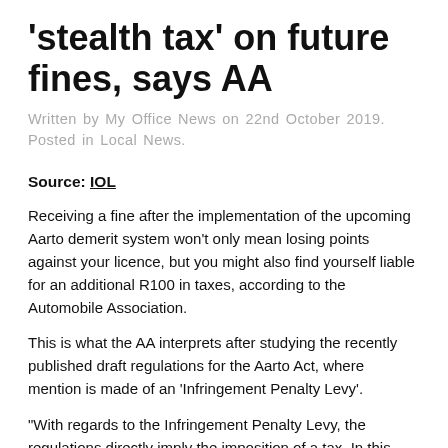'stealth tax' on future fines, says AA
Written by My Office News on 22nd October 2019. Posted in Local News.
Source: IOL
Receiving a fine after the implementation of the upcoming Aarto demerit system won't only mean losing points against your licence, but you might also find yourself liable for an additional R100 in taxes, according to the Automobile Association.
This is what the AA interprets after studying the recently published draft regulations for the Aarto Act, where mention is made of an 'Infringement Penalty Levy'.
“With regards to the Infringement Penalty Levy, the regulations directly imply the imposition of a tax. In this case, it refers to a fee payable for every infringement notice issued to motorists,” the AA